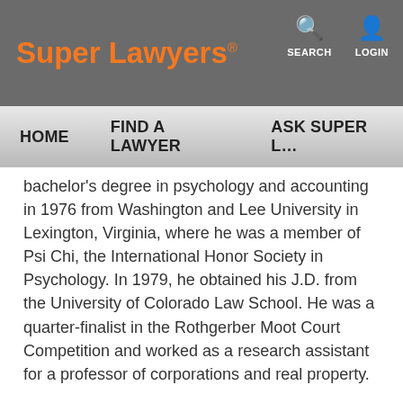Super Lawyers® — SEARCH  LOGIN
HOME    FIND A LAWYER    ASK SUPER L…
bachelor's degree in psychology and accounting in 1976 from Washington and Lee University in Lexington, Virginia, where he was a member of Psi Chi, the International Honor Society in Psychology. In 1979, he obtained his J.D. from the University of Colorado Law School. He was a quarter-finalist in the Rothgerber Moot Court Competition and worked as a research assistant for a professor of corporations and real property.
To engage with fellow attorneys professionally, Mr. Heckenbach has associated himself with several organizations such as the Colorado Bar Association, the Denver Bar Association, the Arapahoe County Bar